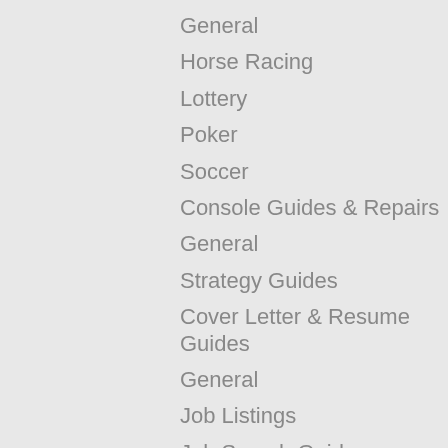General
Horse Racing
Lottery
Poker
Soccer
Console Guides & Repairs
General
Strategy Guides
Cover Letter & Resume Guides
General
Job Listings
Job Search Guides
Job Skills / Training
Dating Guides
Eating Disorders
General
Male Dating Guides